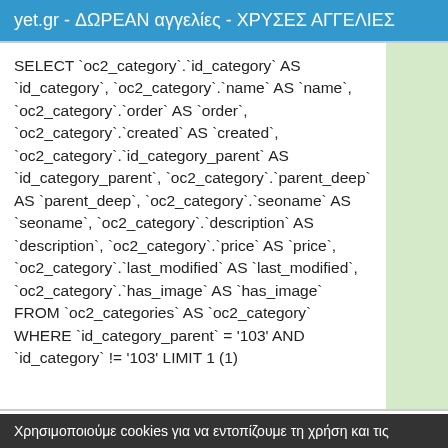yet.gr - ΔΩΡΕΑΝ αγγελίες - ΧΡΥΣΕΣ ΑΓΓΕΛΙΕΣ
SELECT `oc2_category`.`id_category` AS `id_category`, `oc2_category`.`name` AS `name`, `oc2_category`.`order` AS `order`, `oc2_category`.`created` AS `created`, `oc2_category`.`id_category_parent` AS `id_category_parent`, `oc2_category`.`parent_deep` AS `parent_deep`, `oc2_category`.`seoname` AS `seoname`, `oc2_category`.`description` AS `description`, `oc2_category`.`price` AS `price`, `oc2_category`.`last_modified` AS `last_modified`, `oc2_category`.`has_image` AS `has_image` FROM `oc2_categories` AS `oc2_category` WHERE `id_category_parent` = '103' AND `id_category` != '103' LIMIT 1 (1)
Χρησιμοποιούμε cookies για να εντοπίζουμε τη χρήση και τις